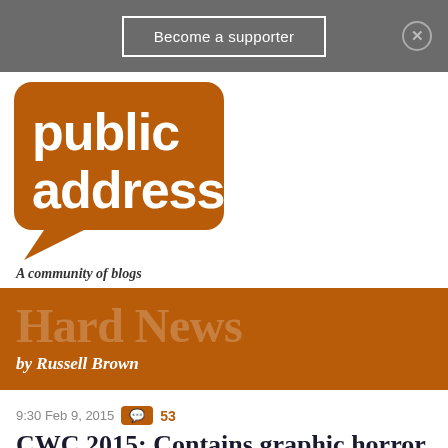Become a supporter
[Figure (logo): Public Address logo - orange rounded rectangle with speech bubble, white text reading 'public address']
A community of blogs
[Figure (infographic): Hard News by Russell Brown banner - dark orange background with large semi-transparent text 'Hard News' and subtitle 'by Russell Brown']
9:30 Feb 9, 2015  53
CWC 2015: Contains graphic horror
If you happened to see Australia thump India in the last of their Cricket World Cup warm-up games last night, then you got a first look